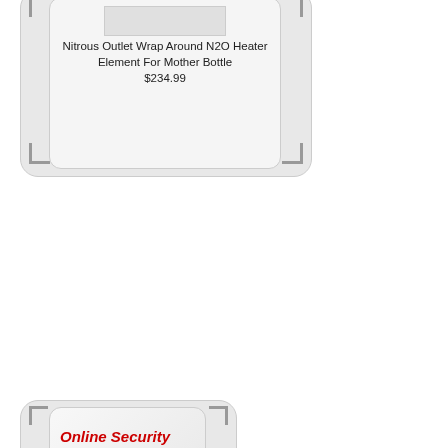Nitrous Outlet Wrap Around N2O Heater Element For Mother Bottle
$234.99
[Figure (other): Online Security card UI element with rounded rectangle frame and red italic bold label 'Online Security']